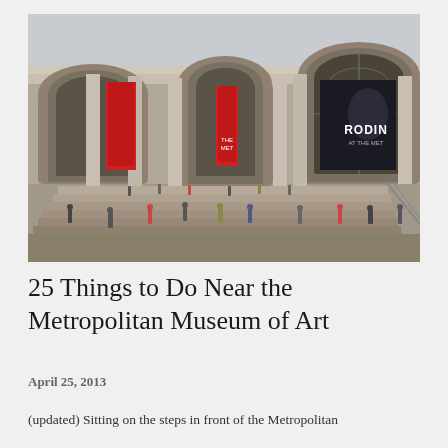[Figure (photo): Exterior facade of the Metropolitan Museum of Art in New York City. The neoclassical stone building features tall columns, large arched windows, and wide stone steps with many visitors. Red banners hang between the columns, and a large black banner advertising 'RODIN AT THE MET' is visible on the right side.]
25 Things to Do Near the Metropolitan Museum of Art
April 25, 2013
(updated) Sitting on the steps in front of the Metropolitan